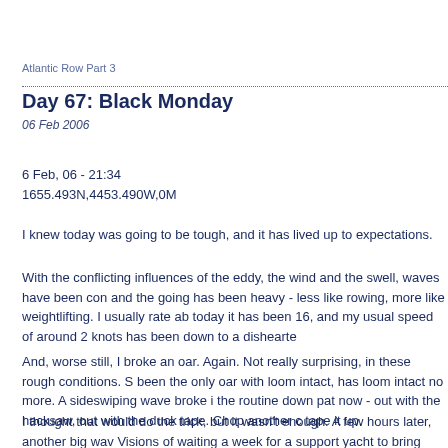Atlantic Row Part 3
Day 67: Black Monday
06 Feb 2006
6 Feb, 06 - 21:34
1655.493N,4453.490W,0M
I knew today was going to be tough, and it has lived up to expectations.
With the conflicting influences of the eddy, the wind and the swell, waves have been con and the going has been heavy - less like rowing, more like weightlifting. I usually rate ab today it has been 16, and my usual speed of around 2 knots has been down to a dishearte
And, worse still, I broke an oar. Again. Not really surprising, in these rough conditions. S been the only oar with loom intact, has loom intact no more. A sideswiping wave broke i the routine down pat now - out with the hacksaw, out with the duck tape. Chop another c tape it up.
I thought that would do the trick, but it wasn't enough. A few hours later, another big wav Visions of waiting a week for a support yacht to bring replacements flashed across my m losing my unsupported status. I wasn't ready to give up yet.